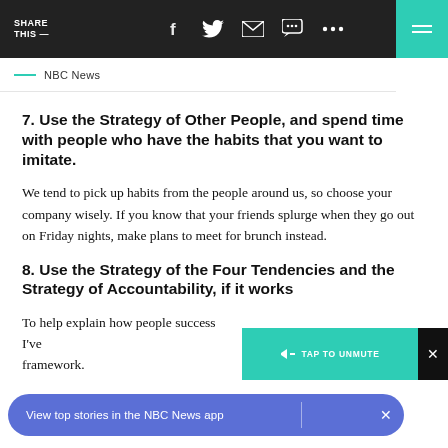SHARE THIS — [social icons]
NBC News
7. Use the Strategy of Other People, and spend time with people who have the habits that you want to imitate.
We tend to pick up habits from the people around us, so choose your company wisely. If you know that your friends splurge when they go out on Friday nights, make plans to meet for brunch instead.
8. Use the Strategy of the Four Tendencies and the Strategy of Accountability, if it works
To help explain how people success I've framework.